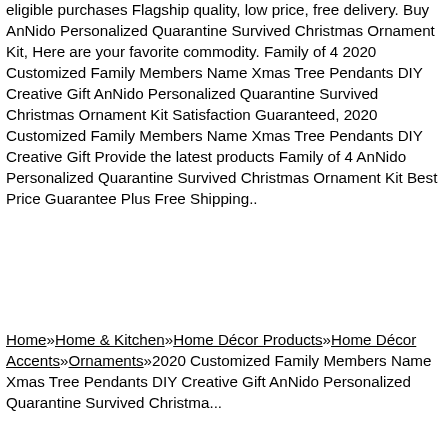eligible purchases Flagship quality, low price, free delivery. Buy AnNido Personalized Quarantine Survived Christmas Ornament Kit, Here are your favorite commodity. Family of 4 2020 Customized Family Members Name Xmas Tree Pendants DIY Creative Gift AnNido Personalized Quarantine Survived Christmas Ornament Kit Satisfaction Guaranteed, 2020 Customized Family Members Name Xmas Tree Pendants DIY Creative Gift Provide the latest products Family of 4 AnNido Personalized Quarantine Survived Christmas Ornament Kit Best Price Guarantee Plus Free Shipping..
Home»Home & Kitchen»Home Décor Products»Home Décor Accents»Ornaments»2020 Customized Family Members Name Xmas Tree Pendants DIY Creative Gift AnNido Personalized Quarantine Survived Christma...